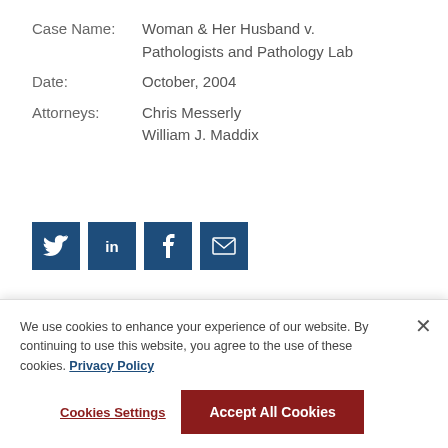Case Name: Woman & Her Husband v. Pathologists and Pathology Lab
Date: October, 2004
Attorneys: Chris Messerly
William J. Maddix
[Figure (infographic): Social media sharing buttons: Twitter, LinkedIn, Facebook, Email — dark blue square icons]
RELATED DECISIONS
We use cookies to enhance your experience of our website. By continuing to use this website, you agree to the use of these cookies. Privacy Policy
Cookies Settings   Accept All Cookies